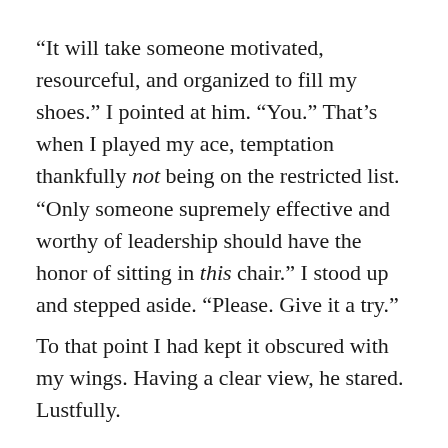“It will take someone motivated, resourceful, and organized to fill my shoes.” I pointed at him. “You.” That’s when I played my ace, temptation thankfully not being on the restricted list. “Only someone supremely effective and worthy of leadership should have the honor of sitting in this chair.” I stood up and stepped aside. “Please. Give it a try.”
To that point I had kept it obscured with my wings. Having a clear view, he stared. Lustfully.